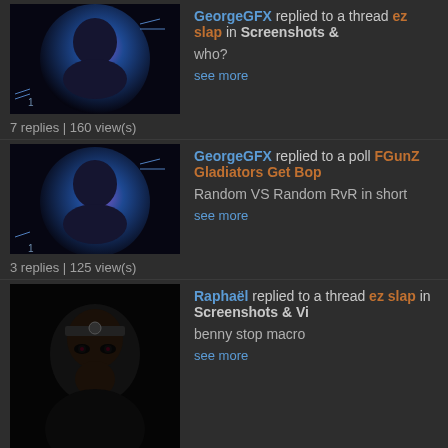GeorgeGFX replied to a thread ez slap in Screenshots &
who?
see more
7 replies | 160 view(s)
GeorgeGFX replied to a poll FGunZ Gladiators Get Bop
Random VS Random RvR in short
see more
3 replies | 125 view(s)
Raphaël replied to a thread ez slap in Screenshots & Vi
benny stop macro
see more
7 replies | 160 view(s)
TomasEdison replied to a thread ez slap in Screenshots
100% stopped Benny's streak after 23940903 tries kk